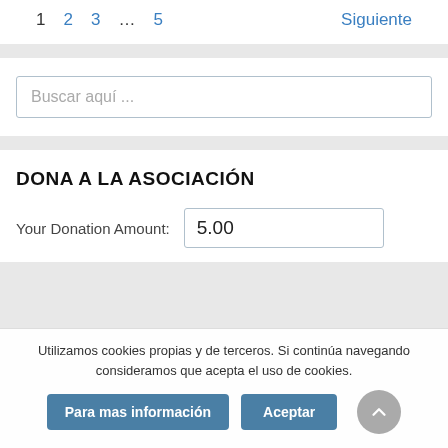1  2  3  …  5  Siguiente
Buscar aquí ...
DONA A LA ASOCIACIÓN
Your Donation Amount:  5.00
Utilizamos cookies propias y de terceros. Si continúa navegando consideramos que acepta el uso de cookies.
Para mas información  Aceptar